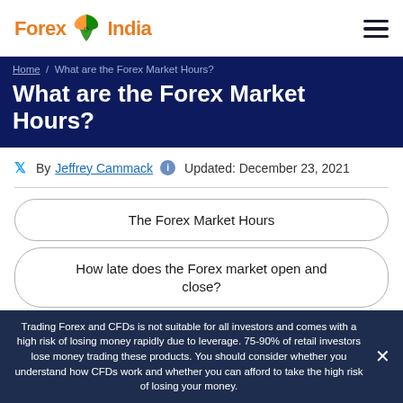Forex India — hamburger menu
Home / What are the Forex Market Hours?
What are the Forex Market Hours?
By Jeffrey Cammack   Updated: December 23, 2021
The Forex Market Hours
How late does the Forex market open and close?
Trading Forex and CFDs is not suitable for all investors and comes with a high risk of losing money rapidly due to leverage. 75-90% of retail investors lose money trading these products. You should consider whether you understand how CFDs work and whether you can afford to take the high risk of losing your money.